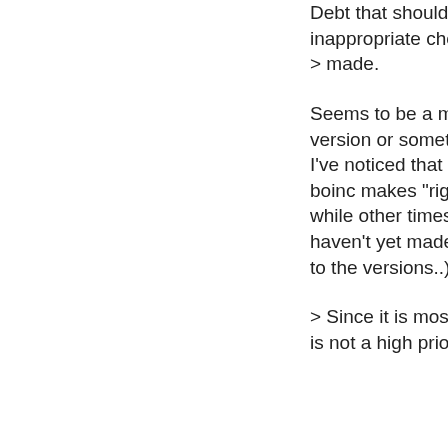Debt that should exist, an inappropriate choice of project is > made.
Seems to be a matter of boinc version or something. At least I've noticed that sometimes boinc makes "right" choices while other times it doesn't (ok, I haven't yet made the connection to the versions..)
> Since it is mostly annoying this is not a high priority